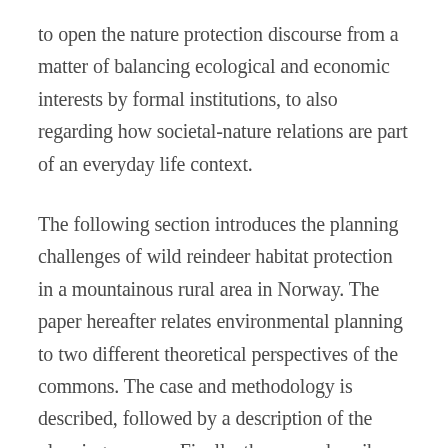to open the nature protection discourse from a matter of balancing ecological and economic interests by formal institutions, to also regarding how societal-nature relations are part of an everyday life context.
The following section introduces the planning challenges of wild reindeer habitat protection in a mountainous rural area in Norway. The paper hereafter relates environmental planning to two different theoretical perspectives of the commons. The case and methodology is described, followed by a description of the planning process. Finally, the paper describes emergent nature understandings and discusses what planning of large spatial areas can learn from theories of the commons.